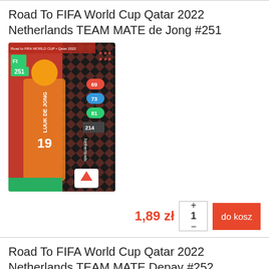Road To FIFA World Cup Qatar 2022 Netherlands TEAM MATE de Jong #251
[Figure (photo): FIFA World Cup Qatar 2022 Netherlands TEAM MATE de Jong #251 collector card showing a player in orange jersey with card number 251, stats visible on the right side]
1,89 zł
1
do kosz
Road To FIFA World Cup Qatar 2022 Netherlands TEAM MATE Depay #252
[Figure (photo): FIFA World Cup Qatar 2022 Netherlands TEAM MATE Depay #252 collector card showing a player with card number 252 and stat 62 visible]